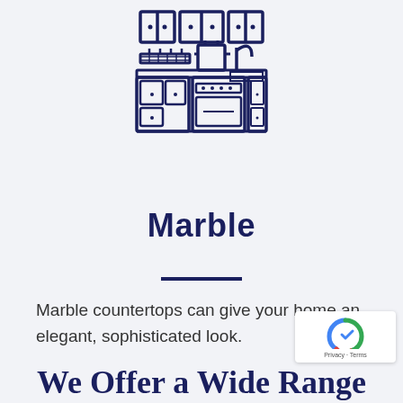[Figure (illustration): Line-art icon of a kitchen with cabinets, countertop, stove, sink, and overhead shelves drawn in dark navy blue on light background]
Marble
Marble countertops can give your home an elegant, sophisticated look.
We Offer a Wide Range